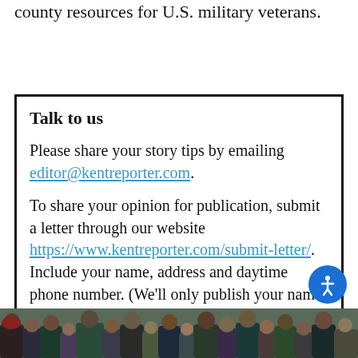county resources for U.S. military veterans.
Talk to us
Please share your story tips by emailing editor@kentreporter.com.
To share your opinion for publication, submit a letter through our website https://www.kentreporter.com/submit-letter/. Include your name, address and daytime phone number. (We'll only publish your name and hometown.) Please keep letters to 300 words or less.
[Figure (photo): Photo of a crowd of people at what appears to be a community event or gathering, visible at the bottom of the page.]